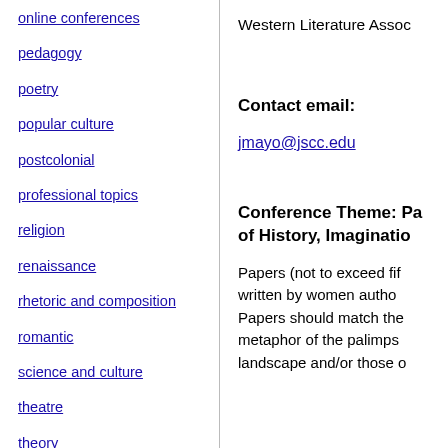online conferences
pedagogy
poetry
popular culture
postcolonial
professional topics
religion
renaissance
rhetoric and composition
romantic
science and culture
theatre
theory
translation studies
Western Literature Assoc
Contact email:
jmayo@jscc.edu
Conference Theme: Pa of History, Imaginatio
Papers (not to exceed fif written by women autho Papers should match the metaphor of the palimps landscape and/or those o